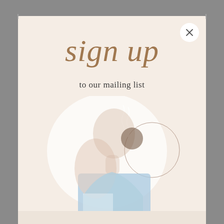sign up
to our mailing list
[Figure (photo): A woman in profile view wearing a light blue polo shirt, with hair in a bun, touching her chin/neck area. Decorative circular shapes and wavy lines surround her on a cream/white background.]